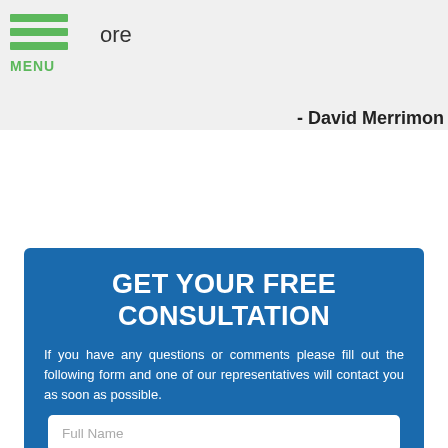MENU
ore
- David Merrimon
GET YOUR FREE CONSULTATION
If you have any questions or comments please fill out the following form and one of our representatives will contact you as soon as possible.
Full Name
Best Phone
Email Address
How Can We Help You With Your Debt?